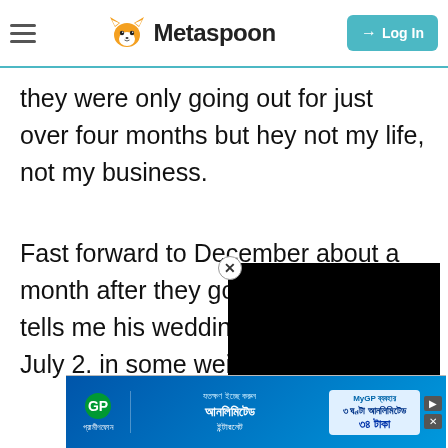Metaspoon — navigation bar with hamburger menu, fox logo, site name, and Log In button
they were only going out for just over four months but hey not my life, not my business.
Fast forward to December about a month after they got engaged Drew tells me his wedding [obscured] wedding is on July 2. [obscured] in some weird compe[tition with his] fianc[é about getting] cons[ensus or something]
[Figure (screenshot): Black video player overlay with close button (X circle) in top-left corner of overlay]
[Figure (screenshot): Advertisement banner for Grameenphone (telecom) with Bengali text about unlimited internet, MyGP logo, 3 hours unlimited, 34 taka offer]